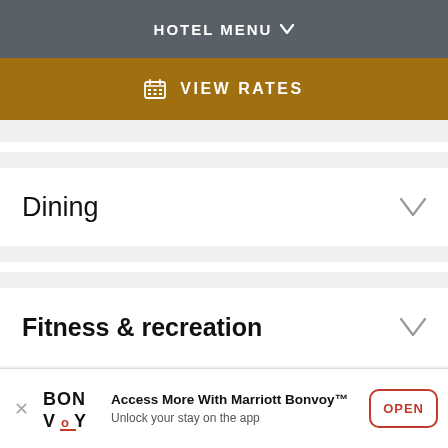HOTEL MENU
VIEW RATES
Dining
Fitness & recreation
Access More With Marriott Bonvoy™ Unlock your stay on the app